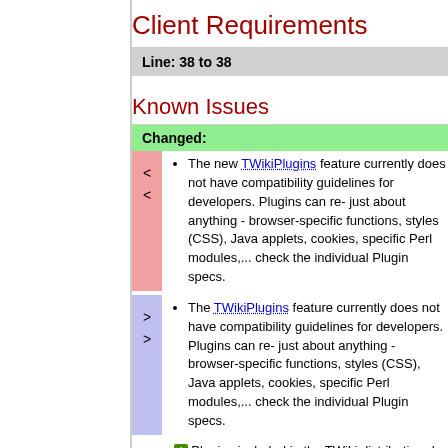Client Requirements
Line: 38 to 38
Known Issues
Changed:
The new TWikiPlugins feature currently does not have compatibility guidelines for developers. Plugins can re- just about anything - browser-specific functions, styles (CSS), Java applets, cookies, specific Perl modules,... check the individual Plugin specs.
The TWikiPlugins feature currently does not have compatibility guidelines for developers. Plugins can re- just about anything - browser-specific functions, styles (CSS), Java applets, cookies, specific Perl modules,... check the individual Plugin specs.
Plugins included in the TWiki distribution do add requirements.